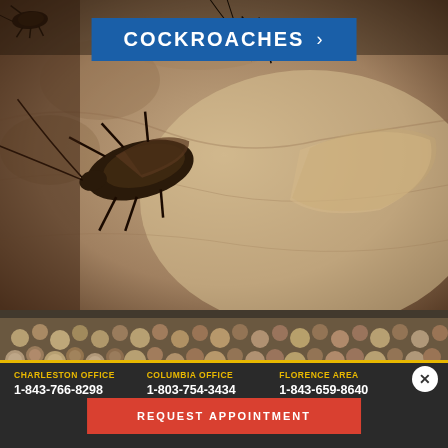[Figure (photo): Close-up macro photograph of cockroaches on a textured beige surface]
COCKROACHES ›
[Figure (photo): Close-up blurred photograph of small brown pebbles or gravel]
CHARLESTON OFFICE
1-843-766-8298
COLUMBIA OFFICE
1-803-754-3434
FLORENCE AREA
1-843-659-8640
REQUEST APPOINTMENT